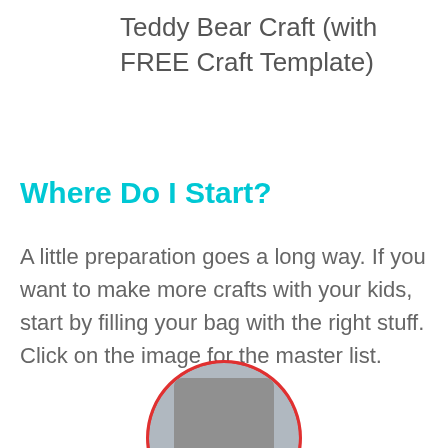Teddy Bear Craft (with FREE Craft Template)
Where Do I Start?
A little preparation goes a long way. If you want to make more crafts with your kids, start by filling your bag with the right stuff. Click on the image for the master list.
[Figure (photo): Partial circular photo with red border showing a child or craft-related image, cropped at bottom of page]